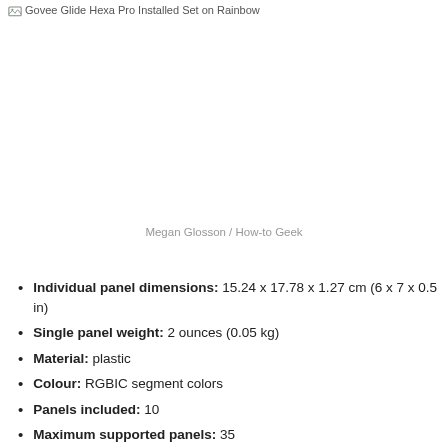[Figure (photo): Govee Glide Hexa Pro Installed Set on Rainbow — broken image placeholder]
Megan Glosson / How-to Geek
Individual panel dimensions: 15.24 x 17.78 x 1.27 cm (6 x 7 x 0.5 in)
Single panel weight: 2 ounces (0.05 kg)
Material: plastic
Colour: RGBIC segment colors
Panels included: 10
Maximum supported panels: 35